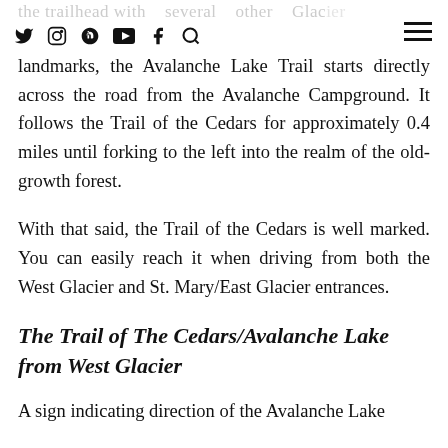the trailhead with several other Glacier landmarks, [social icons] the Avalanche Lake Trail starts
landmarks, the Avalanche Lake Trail starts directly across the road from the Avalanche Campground. It follows the Trail of the Cedars for approximately 0.4 miles until forking to the left into the realm of the old-growth forest.
With that said, the Trail of the Cedars is well marked. You can easily reach it when driving from both the West Glacier and St. Mary/East Glacier entrances.
The Trail of The Cedars/Avalanche Lake from West Glacier
A sign indicating direction of the Avalanche Lake